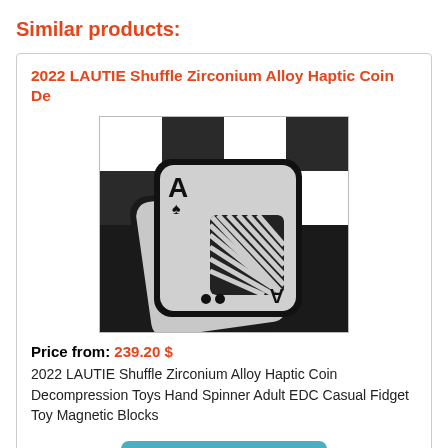Similar products:
2022 LAUTIE Shuffle Zirconium Alloy Haptic Coin De
[Figure (photo): Two square rounded playing card-style metallic tokens with a spade design and diagonal lines, photographed on a checkerboard black and white background.]
Price from: 239.20 $
2022 LAUTIE Shuffle Zirconium Alloy Haptic Coin Decompression Toys Hand Spinner Adult EDC Casual Fidget Toy Magnetic Blocks
product detail